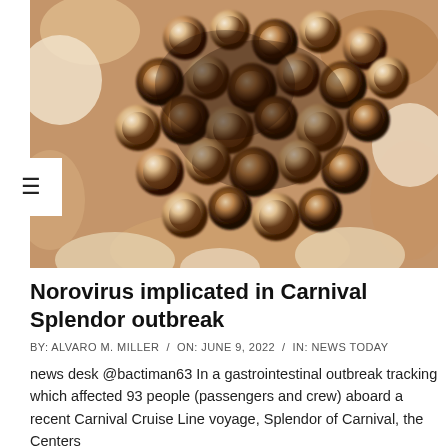[Figure (photo): Electron microscope image of Norovirus particles, appearing as round brownish/tan spherical virus particles clustered together against a lighter background, typical negative-stain transmission electron micrograph.]
Norovirus implicated in Carnival Splendor outbreak
BY: ALVARO M. MILLER / ON: JUNE 9, 2022 / IN: NEWS TODAY
news desk @bactiman63 In a gastrointestinal outbreak tracking which affected 93 people (passengers and crew) aboard a recent Carnival Cruise Line voyage, Splendor of Carnival, the Centers for disease control and the prevention identified...